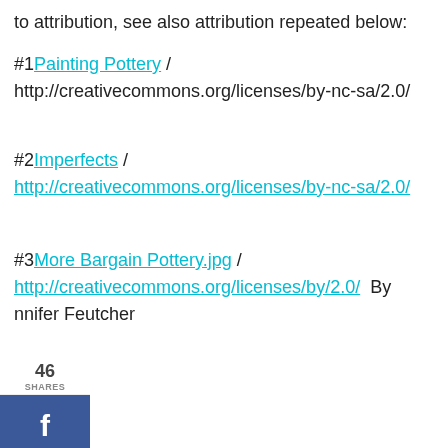to attribution, see also attribution repeated below:
#1 Painting Pottery / http://creativecommons.org/licenses/by-nc-sa/2.0/
#2 Imperfects / http://creativecommons.org/licenses/by-nc-sa/2.0/
#3 More Bargain Pottery.jpg / http://creativecommons.org/licenses/by/2.0/  By Jennifer Feutcher
[Figure (photo): Street scene showing stone stairs in what appears to be a Japanese alley with traditional shops on either side, people with umbrellas walking up the stairs]
WHAT'S NEXT → Ultimate Guide to the Top 4...